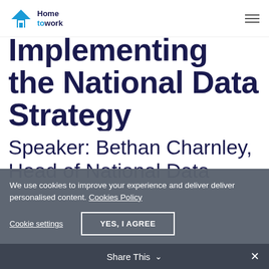Home to work
Implementing the National Data Strategy
Speaker: Bethan Charnley, Head of National Data
We use cookies to improve your experience and deliver deliver personalised content. Cookies Policy
Cookie settings   YES, I AGREE
Share This